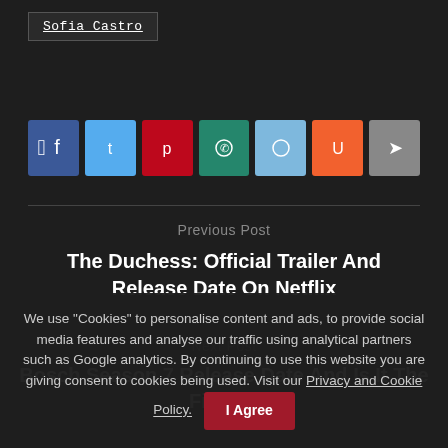Sofia Castro
[Figure (infographic): Social share buttons: Facebook (blue), Twitter (light blue), Pinterest (red), WhatsApp (teal), Reddit (light blue), StumbleUpon (orange), Share/generic (gray)]
Previous Post
The Duchess: Official Trailer And Release Date On Netflix
Next Post
Bosch Season 7 Release Date And Is It The Finale?
We use "Cookies" to personalise content and ads, to provide social media features and analyse our traffic using analytical partners such as Google analytics. By continuing to use this website you are giving consent to cookies being used. Visit our Privacy and Cookie Policy.